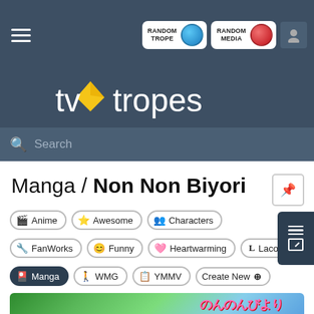TV Tropes — Random Trope | Random Media | User
[Figure (logo): TV Tropes logo with yellow kite icon and white text 'tvtropes']
[Figure (screenshot): Search bar with placeholder text 'Search']
Manga / Non Non Biyori
Anime
Awesome
Characters
FanWorks
Funny
Heartwarming
Laconic
Manga
WMG
YMMV
Create New
[Figure (illustration): Non Non Biyori anime title card with Japanese text and colorful logo on blue sky background]